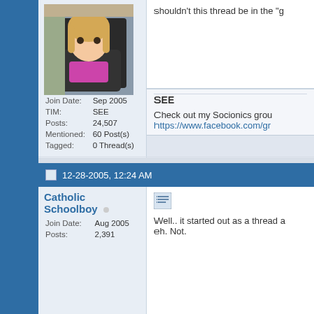[Figure (photo): Profile photo of a young child with blonde hair sitting in a car seat, wearing a pink shirt]
Join Date: Sep 2005
TIM: SEE
Posts: 24,507
Mentioned: 60 Post(s)
Tagged: 0 Thread(s)
shouldn't this thread be in the "g
SEE

Check out my Socionics grou
https://www.facebook.com/gr
12-28-2005, 12:24 AM
Catholic Schoolboy
Join Date: Aug 2005
Posts: 2,391
[Figure (screenshot): Post/reply icon button]
Well.. it started out as a thread a
eh. Not.